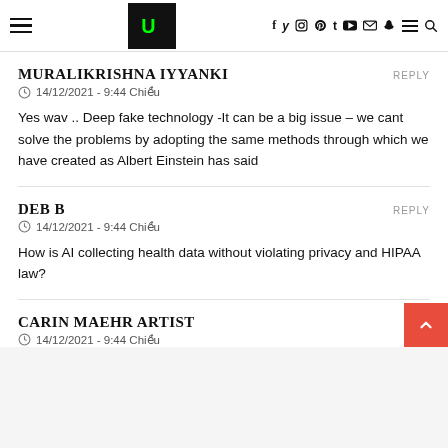Navigation header with logo and social icons: f y (instagram) (pinterest) t (youtube) (email) (snapchat) menu search
MURALIKRISHNA IYYANKI
14/12/2021 - 9:44 Chiều
Yes wav .. Deep fake technology -It can be a big issue – we cant solve the problems by adopting the same methods through which we have created as Albert Einstein has said
DEB B
14/12/2021 - 9:44 Chiều
How is AI collecting health data without violating privacy and HIPAA law?
CARIN MAEHR ARTIST
14/12/2021 - 9:44 Chiều